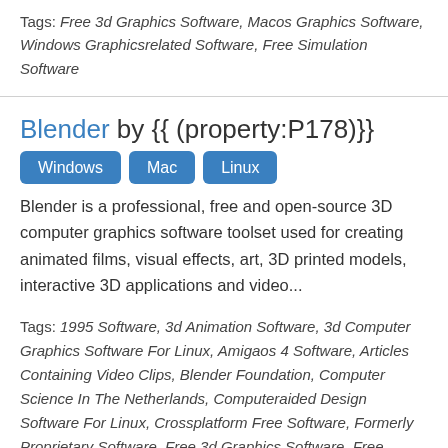Tags: Free 3d Graphics Software, Macos Graphics Software, Windows Graphicsrelated Software, Free Simulation Software
Blender by {{ (property:P178)}}
Windows
Mac
Linux
Blender is a professional, free and open-source 3D computer graphics software toolset used for creating animated films, visual effects, art, 3D printed models, interactive 3D applications and video...
Tags: 1995 Software, 3d Animation Software, 3d Computer Graphics Software For Linux, Amigaos 4 Software, Articles Containing Video Clips, Blender Foundation, Computer Science In The Netherlands, Computeraided Design Software For Linux, Crossplatform Free Software, Formerly Proprietary Software, Free 3d Graphics Software, Free Computeraided Design Software, Free Software Programmed In C, Free Software...